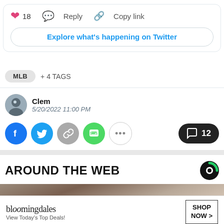[Figure (screenshot): Twitter interaction bar showing heart icon with count 18, Reply button, and Copy link button, plus Explore what's happening on Twitter button]
MLB + 4 TAGS
Clem
5/20/2022 11:00 PM
[Figure (screenshot): Social share buttons: Facebook, Twitter, copy link, SMS, more options, and comment count button showing 12]
AROUND THE WEB
[Figure (photo): Partial photo of a person, with a Bloomingdales advertisement banner showing View Today's Top Deals! and SHOP NOW button]